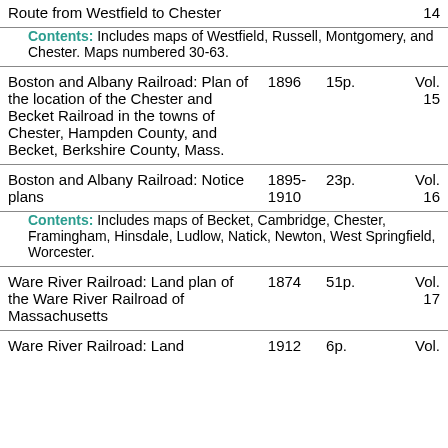| Title | Year | Pages | Vol. |
| --- | --- | --- | --- |
| Route from Westfield to Chester
Contents: Includes maps of Westfield, Russell, Montgomery, and Chester. Maps numbered 30-63. |  |  | 14 |
| Boston and Albany Railroad: Plan of the location of the Chester and Becket Railroad in the towns of Chester, Hampden County, and Becket, Berkshire County, Mass. | 1896 | 15p. | Vol. 15 |
| Boston and Albany Railroad: Notice plans
Contents: Includes maps of Becket, Cambridge, Chester, Framingham, Hinsdale, Ludlow, Natick, Newton, West Springfield, Worcester. | 1895-1910 | 23p. | Vol. 16 |
| Ware River Railroad: Land plan of the Ware River Railroad of Massachusetts | 1874 | 51p. | Vol. 17 |
| Ware River Railroad: Land | 1912 | 6p. | Vol. |